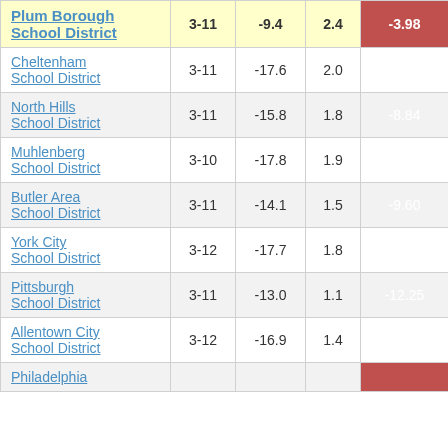| School District | Grades | Col3 | Col4 | Col5 |
| --- | --- | --- | --- | --- |
| Plum Borough School District | 3-11 | -9.4 | 2.4 | -3.98 |
| Cheltenham School District | 3-11 | -17.6 | 2.0 | -8.74 |
| North Hills School District | 3-11 | -15.8 | 1.8 | -8.84 |
| Muhlenberg School District | 3-10 | -17.8 | 1.9 | -9.34 |
| Butler Area School District | 3-11 | -14.1 | 1.5 | -9.60 |
| York City School District | 3-12 | -17.7 | 1.8 | -10.05 |
| Pittsburgh School District | 3-11 | -13.0 | 1.1 | -12.25 |
| Allentown City School District | 3-12 | -16.9 | 1.4 | -12.37 |
| Philadelphia |  |  |  |  |